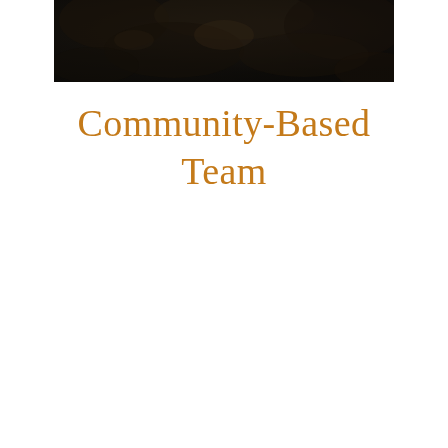[Figure (photo): Dark nature/landscape photograph used as a decorative banner at the top of the page]
Community-Based Team